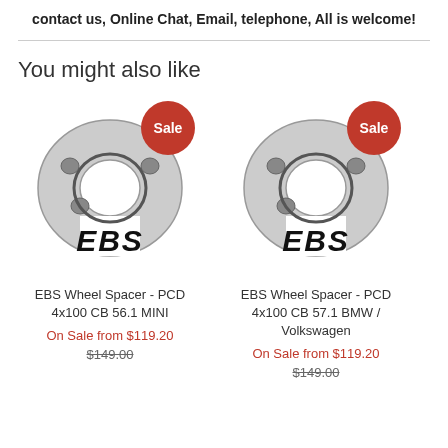contact us, Online Chat, Email, telephone, All is welcome!
You might also like
[Figure (photo): EBS Wheel Spacer product image with Sale badge - PCD 4x100 CB 56.1 MINI]
EBS Wheel Spacer - PCD 4x100 CB 56.1 MINI
On Sale from $119.20
$149.00
[Figure (photo): EBS Wheel Spacer product image with Sale badge - PCD 4x100 CB 57.1 BMW / Volkswagen]
EBS Wheel Spacer - PCD 4x100 CB 57.1 BMW / Volkswagen
On Sale from $119.20
$149.00